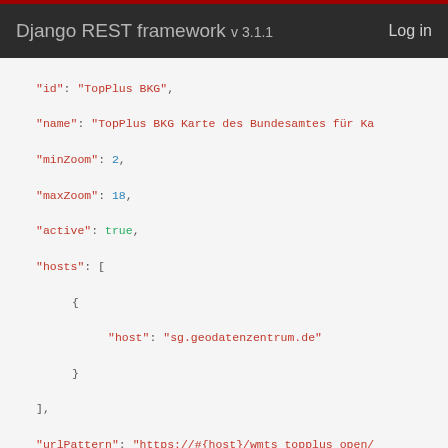Django REST framework v3.1.1  Log in
JSON code block showing TopPlus BKG and TopPlus BKG (grau) API entries with fields: id, name, minZoom, maxZoom, active, hosts, urlPattern, copyright